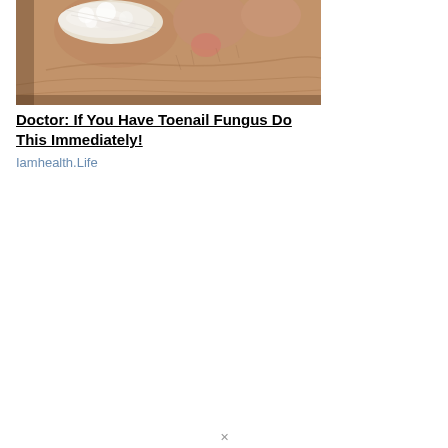[Figure (photo): Close-up photograph of toes with toenail fungus — the big toe shows white, powdery, flaking affected nail.]
Doctor: If You Have Toenail Fungus Do This Immediately!
Iamhealth.Life